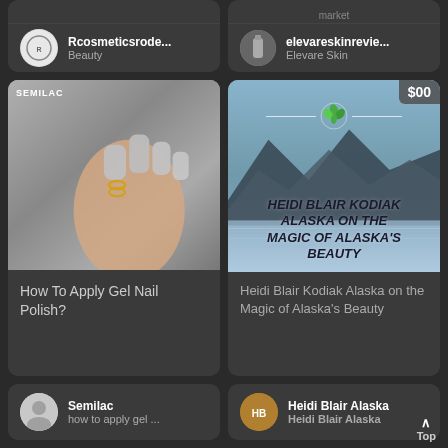[Figure (screenshot): Social media content feed showing beauty/lifestyle cards in a dark themed two-column grid layout]
Rcosmeticsrode... Beauty
market
elevareskinrevie... Elevare Skin
[Figure (photo): Close-up photo of hand with gray gel nail polish labeled SEMILAC]
How To Apply Gel Nail Polish?
Semilac how to apply gel ...
[Figure (photo): Alaska landscape with mountains and water, overlay text HEIDI BLAIR KODIAK ALASKA ON THE MAGIC OF ALASKA'S BEAUTY, green leaf logo, $00 price badge]
Heidi Blair Kodiak Alaska on the Magic of Alaska's Beauty
Heidi Blair Alaska Heidi Blair Alaska
Top